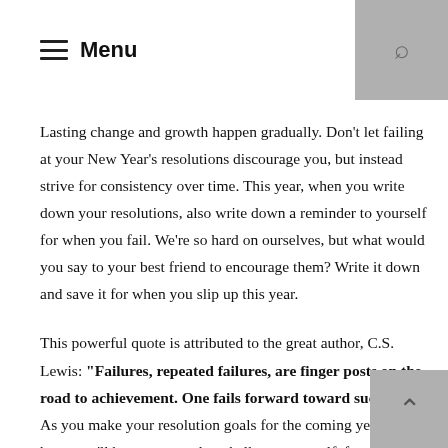≡ Menu
Lasting change and growth happen gradually. Don't let failing at your New Year's resolutions discourage you, but instead strive for consistency over time. This year, when you write down your resolutions, also write down a reminder to yourself for when you fail. We're so hard on ourselves, but what would you say to your best friend to encourage them? Write it down and save it for when you slip up this year.
This powerful quote is attributed to the great author, C.S. Lewis: "Failures, repeated failures, are finger posts on the road to achievement. One fails forward toward success." As you make your resolution goals for the coming year, I hope you'll be encouraged to challenge yourself, face your failures, and continue to push forward on the road to success.